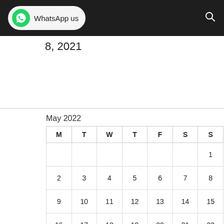[Figure (screenshot): Navigation bar with WhatsApp button and search icon]
8, 2021
| M | T | W | T | F | S | S |
| --- | --- | --- | --- | --- | --- | --- |
|  |  |  |  |  |  | 1 |
| 2 | 3 | 4 | 5 | 6 | 7 | 8 |
| 9 | 10 | 11 | 12 | 13 | 14 | 15 |
| 16 | 17 | 18 | 19 | 20 | 21 | 22 |
| 23 | 24 | 25 | 26 | 27 | 28 | 29 |
| 30 | 31 |  |  |  |  |  |